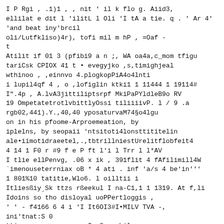I P Rgi , .1)1 , , nit ' il k flo g. Aiid3,
ellilat e dit l 'ilitL l Oli 'I tA a tie. q . ' Ar 4'
'and beat iny'brcil
oli/Lutfkliso)4r), tofi mil m hP , =Oaf -
t
Atilit if 01 3 (pfibi9 a n ;, WA oa4a,c_mom tfigu
tariCsk CPIOX 41 t • evegyjko ,s,timighjeal
wthinoo , ,einnvo 4.plogkopPiA4o4lnti
i lupil4qf 4 , o ,lofiglin ktki1 1 11444 1 19114#
I".4p , A.lvA3jittiliptsrpf MkiPaPYldleB9o RV
19 OmpetatetrotlvbittlyOssi tiliiiivP. l / 9 .a
rgb02,441).Y.,40,40 yposaturvaM74§o4lgu
on in his pfoome-Arproemeation, by
iplelns, by seopaii 'ntsitoti4lonsttititelin
ale•iimotidraeetel,.,tbtrillniestUrelitflobfeit4
4 14 1 F0 r #9 f e P ft l'i l Trr l l*AV
I tlie ellPenvg, .06 x ik , 391flit 4 fAfilimill4W
`imenouseterrniax oB * 4 ati . inf 'a/s 4 be'in'''
1 801%10 tatitie,Wlo6. l oilltii i
Itliesßiy„sk ttzs rßeekul I na-C1,1 1 1319. At f,li
Idoins so tho disloyal uoPPertloggis ,
' ' - f4166 6 4 i 'I It6OI3#I•MILV TVA -,
ini'tnat:S 0
tticre e no peace, , 9 ,0,,,whil